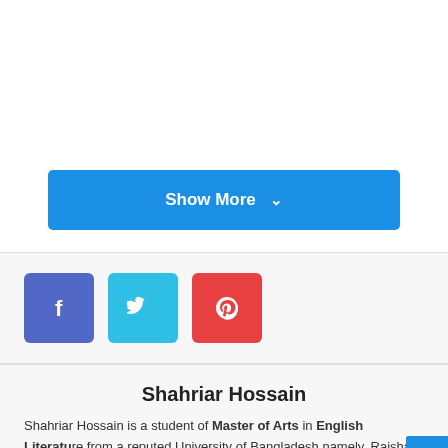[Figure (other): Show More button (blue, rounded rectangle) with chevron icon]
[Figure (other): Social share buttons: Facebook (purple-blue), Twitter (cyan), Pinterest (red), each as square icon buttons]
Shahriar Hossain
Shahriar Hossain is a student of Master of Arts in English Literature from a reputed University of Bangladesh namely, Rajshahi University